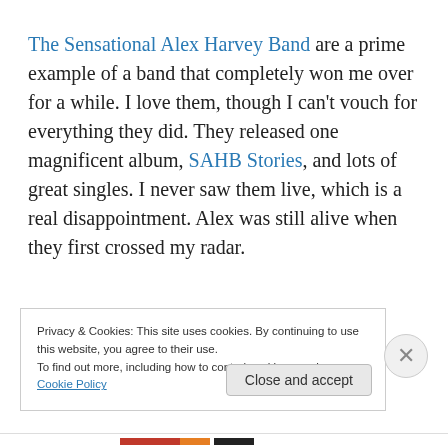The Sensational Alex Harvey Band are a prime example of a band that completely won me over for a while. I love them, though I can't vouch for everything they did. They released one magnificent album, SAHB Stories, and lots of great singles. I never saw them live, which is a real disappointment. Alex was still alive when they first crossed my radar.
Th...
Privacy & Cookies: This site uses cookies. By continuing to use this website, you agree to their use.
To find out more, including how to control cookies, see here: Cookie Policy
Close and accept